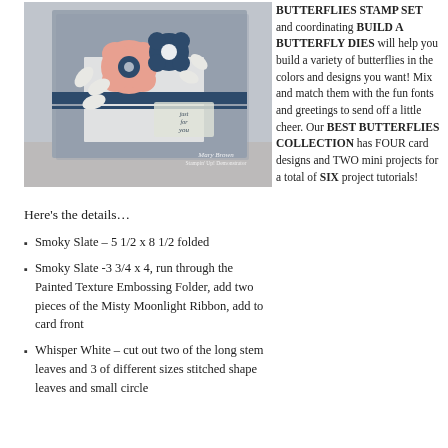[Figure (photo): A handmade greeting card with floral decorations including pink and navy blue flowers, white leaves, a navy ribbon band, and 'just for you' sentiment. Card is gray/smoky slate colored. Watermark reads 'Mary Brown Stampin' Up! Demonstrator'.]
Here's the details…
Smoky Slate – 5 1/2 x 8 1/2 folded
Smoky Slate -3 3/4 x 4, run through the Painted Texture Embossing Folder, add two pieces of the Misty Moonlight Ribbon, add to card front
Whisper White – cut out two of the long stem leaves and 3 of different sizes stitched shape leaves and small circle
BUTTERFLIES STAMP SET and coordinating BUILD A BUTTERFLY DIES will help you build a variety of butterflies in the colors and designs you want! Mix and match them with the fun fonts and greetings to send off a little cheer. Our BEST BUTTERFLIES COLLECTION has FOUR card designs and TWO mini projects for a total of SIX project tutorials!